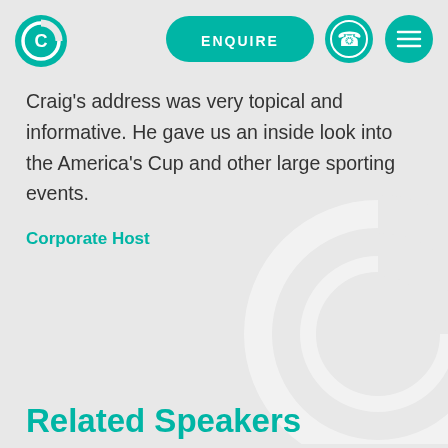[Figure (logo): Teal circular logo with a stylized C shape and compass/life-ring design]
[Figure (other): Teal pill-shaped ENQUIRE button]
[Figure (other): Teal circle with phone icon]
[Figure (other): Teal circle with hamburger menu icon]
Craig's address was very topical and informative. He gave us an inside look into the America's Cup and other large sporting events.
Corporate Host
Related Speakers